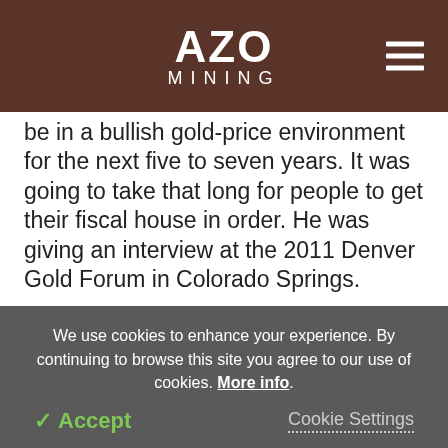AZO MINING
be in a bullish gold-price environment for the next five to seven years. It was going to take that long for people to get their fiscal house in order. He was giving an interview at the 2011 Denver Gold Forum in Colorado Springs.
The price of gold has gone up 25% this year and Newmont Mining has made good on this with an increase in production of 7-8%. The share of the
We use cookies to enhance your experience. By continuing to browse this site you agree to our use of cookies. More info.
Accept
Cookie Settings